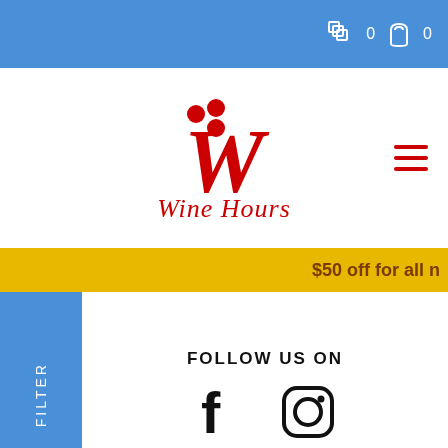0  0
[Figure (logo): Wine Hours logo with red W and grape dots above, italic red cursive text 'Wine Hours' below]
$50 off for all n
FILTER
FOLLOW US ON
[Figure (illustration): Facebook and Instagram icons]
Wine Hours
18 Boon Lay Way, Tradehub 21
Singapore 609966
Business Hours
WINE SHOP